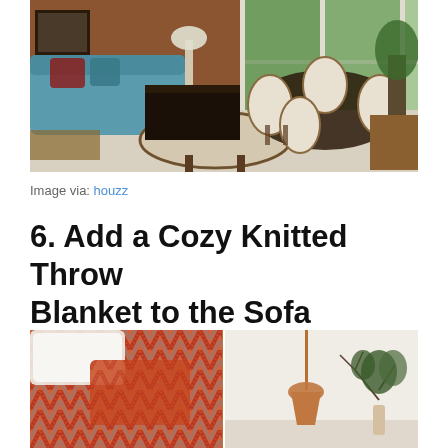[Figure (photo): Interior living/dining room with teal sofa, round coffee table, white upholstered chairs around a dark round dining table, large windows with green trees outside, dark brown walls]
Image via: houzz
6. Add a Cozy Knitted Throw Blanket to the Sofa
[Figure (photo): Two photos side by side: left shows orange and grey chevron/zigzag knitted throw blanket and pillows on a sofa; right shows a minimalist room with a copper pendant lamp and a small potted tree branch]